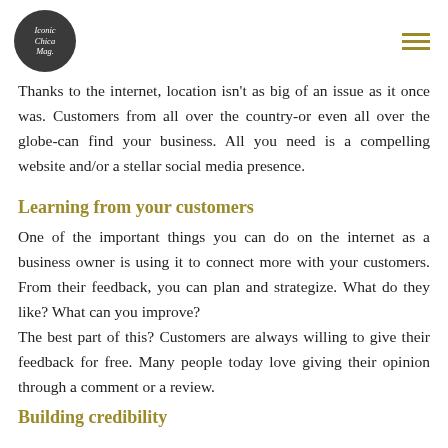Iconic Chica Mag.
Thanks to the internet, location isn't as big of an issue as it once was. Customers from all over the country-or even all over the globe-can find your business. All you need is a compelling website and/or a stellar social media presence.
Learning from your customers
One of the important things you can do on the internet as a business owner is using it to connect more with your customers. From their feedback, you can plan and strategize. What do they like? What can you improve?
The best part of this? Customers are always willing to give their feedback for free. Many people today love giving their opinion through a comment or a review.
Building credibility